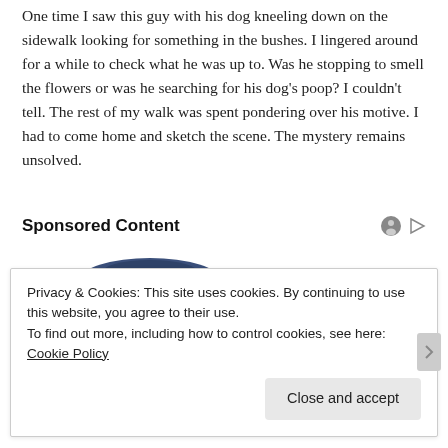One time I saw this guy with his dog kneeling down on the sidewalk looking for something in the bushes. I lingered around for a while to check what he was up to. Was he stopping to smell the flowers or was he searching for his dog's poop? I couldn't tell. The rest of my walk was spent pondering over his motive. I had to come home and sketch the scene. The mystery remains unsolved.
Sponsored Content
[Figure (photo): Partial view of a dark navy blue cushion or product photo used in an advertisement]
Privacy & Cookies: This site uses cookies. By continuing to use this website, you agree to their use.
To find out more, including how to control cookies, see here: Cookie Policy
Close and accept